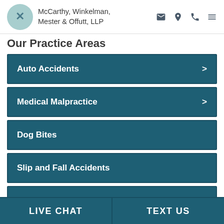McCarthy, Winkelman, Mester & Offutt, LLP
Our Practice Areas
Auto Accidents
Medical Malpractice
Dog Bites
Slip and Fall Accidents
Defective Products
LIVE CHAT   TEXT US